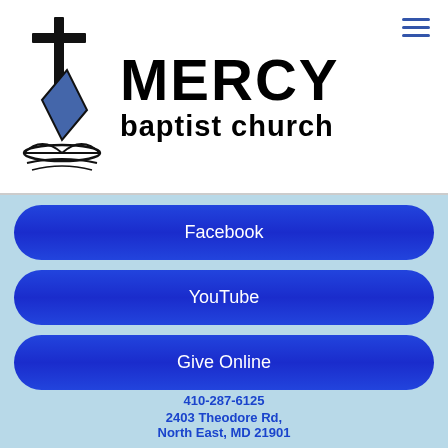[Figure (logo): Mercy Baptist Church logo with cross and open Bible graphic on left, 'MERCY' in large bold text and 'baptist church' below it on the right]
Facebook
YouTube
Give Online
410-287-6125
2403 Theodore Rd, North East, MD 21901